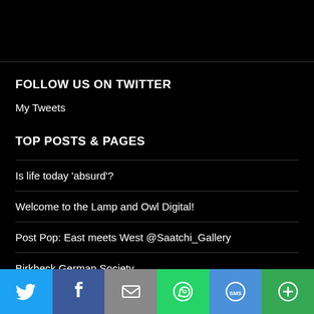FOLLOW US ON TWITTER
My Tweets
TOP POSTS & PAGES
Is life today 'absurd'?
Welcome to the Lamp and Owl Digital!
Post Pop: East meets West @Saatchi_Gallery
Birkbeck German Society
[Figure (infographic): Social sharing bar with icons for Twitter, Facebook, Email, WhatsApp, SMS, and More]